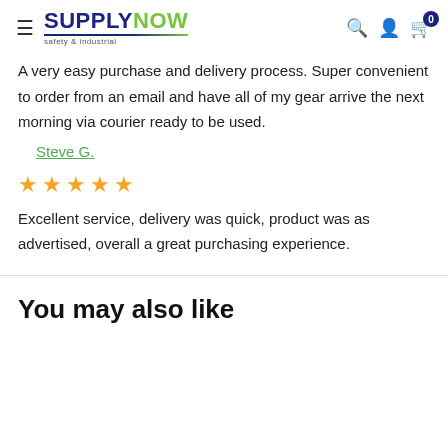SUPPLYNOW safety & industrial — navigation header with search, account, and cart icons
A very easy purchase and delivery process. Super convenient to order from an email and have all of my gear arrive the next morning via courier ready to be used.
Steve G.
[Figure (other): Five gold star rating icons]
Excellent service, delivery was quick, product was as advertised, overall a great purchasing experience.
You may also like